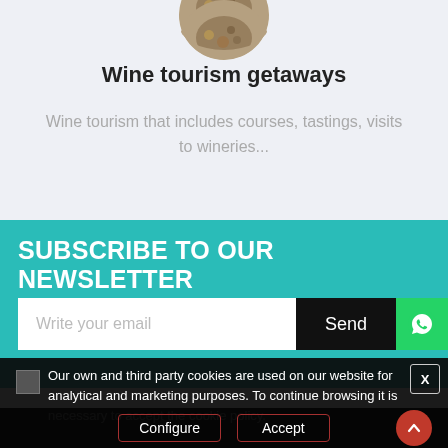[Figure (photo): Circular cropped image of food/wine related content at top of card]
Wine tourism getaways
Wine tourism that includes courses, tastings, visits to wineries...
SUBSCRIBE TO OUR NEWSLETTER
Write your email
Send
Our own and third party cookies are used on our website for analytical and marketing purposes. To continue browsing it is necessary to accept the cookie policy.
Configure
Accept